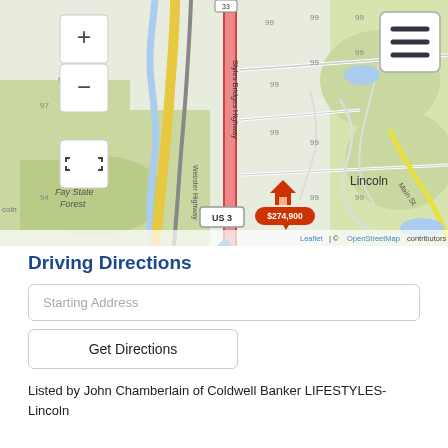[Figure (map): Interactive map showing Lincoln, NH area with Styles Bridges Highway (Route 3 corridor), US 3 label, Train Station marker, Fay State Forest, Webster Highway, Main Street, and a property marker showing $274,900. Map includes zoom controls (+/-) and fullscreen toggle. Leaflet / OpenStreetMap attribution shown. Menu icon in top right corner.]
Driving Directions
Starting Address
Get Directions
Listed by John Chamberlain of Coldwell Banker LIFESTYLES-Lincoln